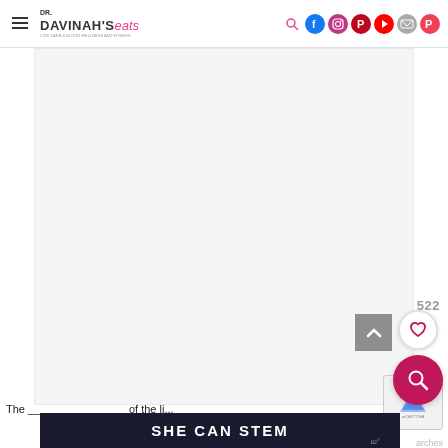Dr. Davinah's Eats — navigation header with logo and social media icons
[Figure (photo): Large white/light grey placeholder image area representing a food photo on drDavinahseats.com blog]
522
[Figure (other): Scroll-to-top arrow button (grey square with upward arrow), heart/save button (white circle with pink heart), search magnifier button (dark pink circle), reCAPTCHA badge]
The __ __ __ __ __ __ tion of the li...
[Figure (other): SHE CAN STEM dark banner advertisement]
arches